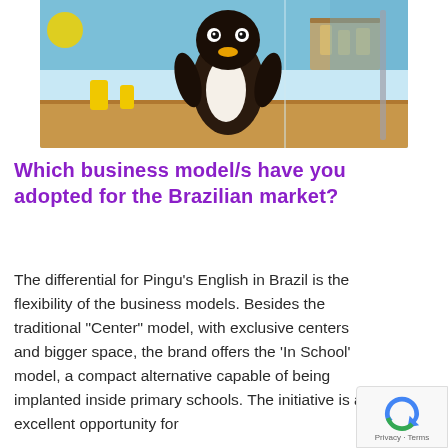[Figure (photo): Interior photo of a Pingu's English learning center showing a large penguin character figure on a desk, yellow accents, and a colorful blue-themed wall mural with children's furniture in the background.]
Which business model/s have you adopted for the Brazilian market?
The differential for Pingu's English in Brazil is the flexibility of the business models. Besides the traditional “Center” model, with exclusive centers and bigger space, the brand offers the ‘In School’ model, a compact alternative capable of being implanted inside primary schools. The initiative is an excellent opportunity for